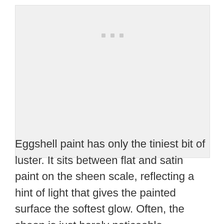[Figure (other): Light gray rectangular image placeholder with three small gray dots near the top center]
Eggshell paint has only the tiniest bit of luster. It sits between flat and satin paint on the sheen scale, reflecting a hint of light that gives the painted surface the softest glow. Often, the sheen is just barely noticeable,